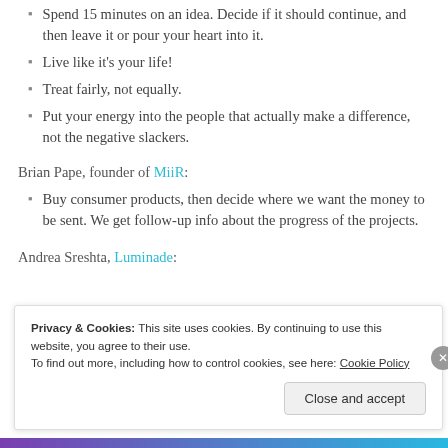Spend 15 minutes on an idea. Decide if it should continue, and then leave it or pour your heart into it.
Live like it's your life!
Treat fairly, not equally.
Put your energy into the people that actually make a difference, not the negative slackers.
Brian Pape, founder of MiiR:
Buy consumer products, then decide where we want the money to be sent. We get follow-up info about the progress of the projects.
Andrea Sreshta, Luminade:
Privacy & Cookies: This site uses cookies. By continuing to use this website, you agree to their use.
To find out more, including how to control cookies, see here: Cookie Policy
Close and accept